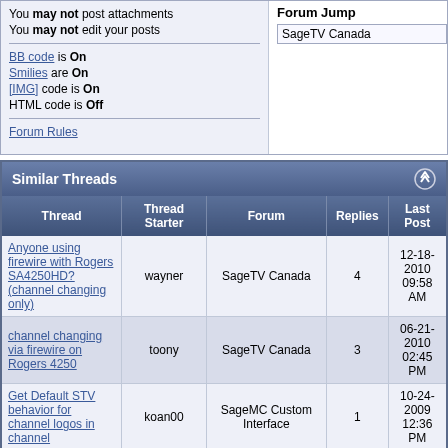You may not post attachments
You may not edit your posts
BB code is On
Smilies are On
[IMG] code is On
HTML code is Off
Forum Rules
Forum Jump
SageTV Canada
Similar Threads
| Thread | Thread Starter | Forum | Replies | Last Post |
| --- | --- | --- | --- | --- |
| Anyone using firewire with Rogers SA4250HD? (channel changing only) | wayner | SageTV Canada | 4 | 12-18-2010 09:58 AM |
| channel changing via firewire on Rogers 4250 | toony | SageTV Canada | 3 | 06-21-2010 02:45 PM |
| Get Default STV behavior for channel logos in channel | koan00 | SageMC Custom Interface | 1 | 10-24-2009 12:36 PM |